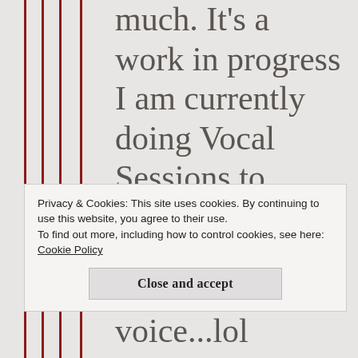much. It's a work in progress I am currently doing Vocal Sessions to improve my
Privacy & Cookies: This site uses cookies. By continuing to use this website, you agree to their use.
To find out more, including how to control cookies, see here: Cookie Policy
Close and accept
voice...lol